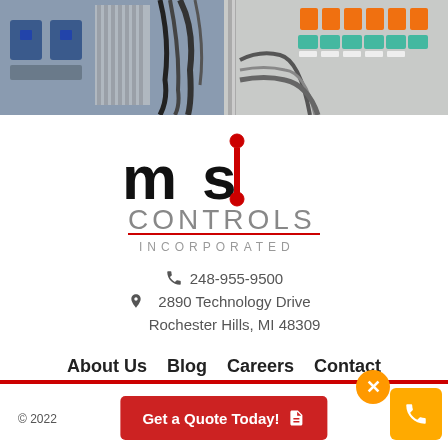[Figure (photo): Industrial electrical control panel components with blue and orange terminals, wiring, and circuit breakers]
[Figure (logo): MIS Controls Incorporated logo — stylized 'mis' in bold black with red circuit-node vertical bar on the i, 'CONTROLS' in gray large caps below, red underline, 'INCORPORATED' in spaced gray small caps below]
248-955-9500
2890 Technology Drive
Rochester Hills, MI 48309
About Us   Blog   Careers   Contact
© 2022
Get a Quote Today!